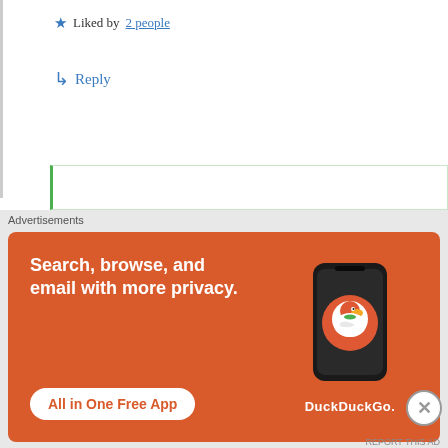★ Liked by 2 people
↳ Reply
Sonam Tsering
June 18, 2020 at 10:43 am
Thanks for taking the time out to reach my blog, so good to know that you have seen the early life part of our
Advertisements
[Figure (infographic): DuckDuckGo advertisement banner with orange background. Text: 'Search, browse, and email with more privacy. All in One Free App' with DuckDuckGo logo and phone image.]